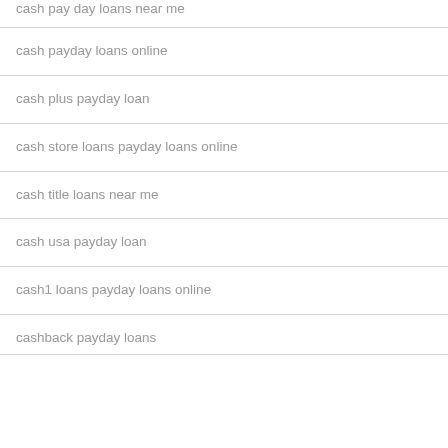cash pay day loans near me
cash payday loans online
cash plus payday loan
cash store loans payday loans online
cash title loans near me
cash usa payday loan
cash1 loans payday loans online
cashback payday loans